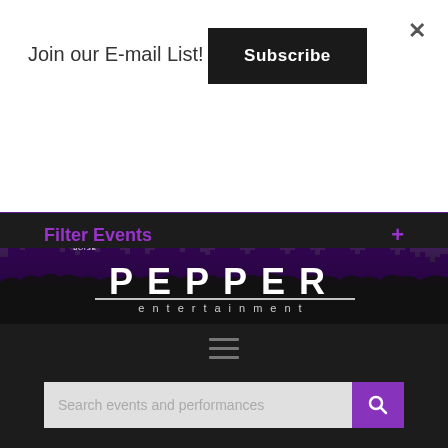Join our E-mail List!
Subscribe
[Figure (screenshot): Pepper Entertainment website hero banner with purple city skyline silhouette and concert crowd. White text 'PEPPER' in large letters with 'entertainment' below. Location pins labeled BOISE, SIOUX FALLS, MINNEAPOLIS visible above the skyline.]
[Figure (infographic): Hamburger menu icon (three horizontal lines) on dark background]
Search events and performances
Filter Events